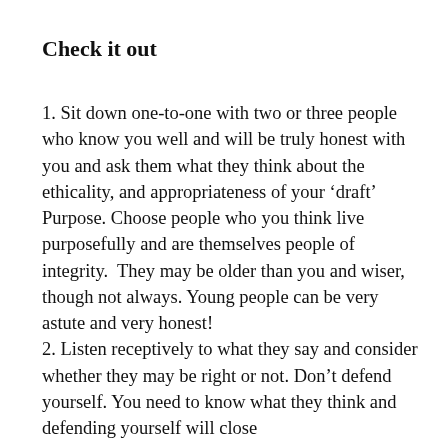Check it out
1. Sit down one-to-one with two or three people who know you well and will be truly honest with you and ask them what they think about the ethicality, and appropriateness of your ‘draft’ Purpose. Choose people who you think live purposefully and are themselves people of integrity.  They may be older than you and wiser, though not always. Young people can be very astute and very honest!
2. Listen receptively to what they say and consider whether they may be right or not. Don’t defend yourself. You need to know what they think and defending yourself will close